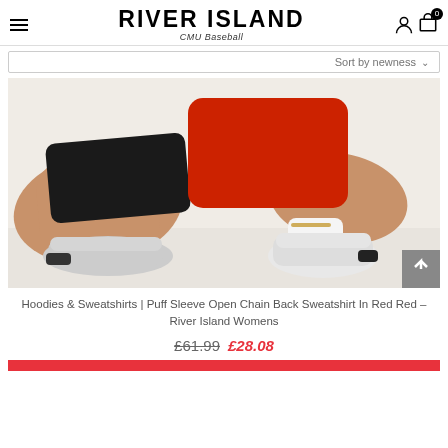RIVER ISLAND CMU Baseball
Sort by newness
[Figure (photo): Fashion product photo showing a person kneeling on a white floor wearing black shorts, a red sweatshirt, white socks, and white chunky sneakers with a gold chain anklet.]
Hoodies & Sweatshirts | Puff Sleeve Open Chain Back Sweatshirt In Red Red – River Island Womens
£61.99 £28.08